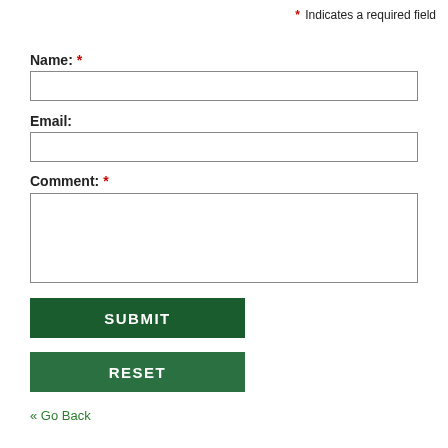* Indicates a required field
Name: *
Email:
Comment: *
SUBMIT
RESET
« Go Back